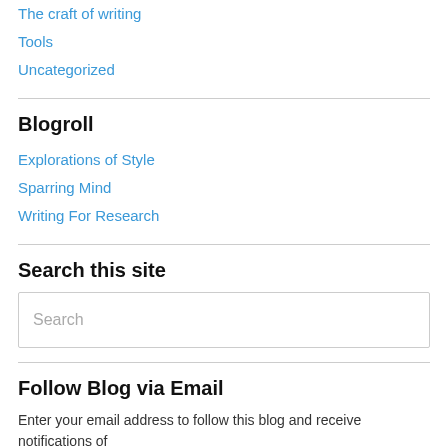The craft of writing
Tools
Uncategorized
Blogroll
Explorations of Style
Sparring Mind
Writing For Research
Search this site
Search
Follow Blog via Email
Enter your email address to follow this blog and receive notifications of